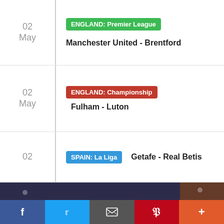02 May | ENGLAND: Premier League | Manchester United - Brentford
02 May | ENGLAND: Championship | Fulham - Luton
02 | SPAIN: La Liga | Getafe - Real Betis
[Figure (photo): Football match photo showing Real Madrid players in white kits and a PSG player in dark kit (number 7) in action during a match, with a goalkeeper in orange kit visible, and The Guardian logo overlay in bottom right]
f  Twitter  email  P  +